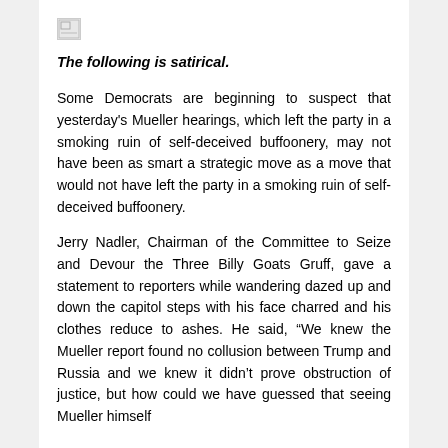[Figure (other): Broken/missing image placeholder icon]
The following is satirical.
Some Democrats are beginning to suspect that yesterday's Mueller hearings, which left the party in a smoking ruin of self-deceived buffoonery, may not have been as smart a strategic move as a move that would not have left the party in a smoking ruin of self-deceived buffoonery.
Jerry Nadler, Chairman of the Committee to Seize and Devour the Three Billy Goats Gruff, gave a statement to reporters while wandering dazed up and down the capitol steps with his face charred and his clothes reduce to ashes. He said, “We knew the Mueller report found no collusion between Trump and Russia and we knew it didn’t prove obstruction of justice, but how could we have guessed that seeing Mueller himself